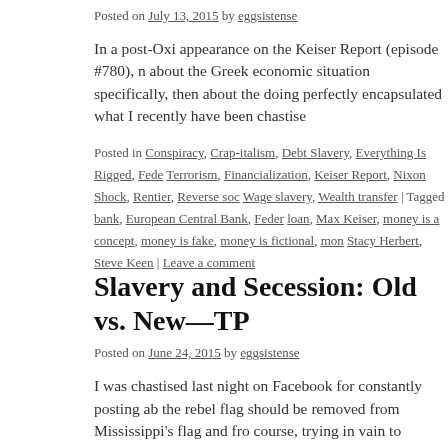Posted on July 13, 2015 by eggsistense
In a post-Oxi appearance on the Keiser Report (episode #780), n about the Greek economic situation specifically, then about the doing perfectly encapsulated what I recently have been chastise
Posted in Conspiracy, Crap-italism, Debt Slavery, Everything Is Rigged, Fede Terrorism, Financialization, Keiser Report, Nixon Shock, Rentier, Reverse so Wage slavery, Wealth transfer | Tagged bank, European Central Bank, Feder loan, Max Keiser, money is a concept, money is fake, money is fictional, mon Stacy Herbert, Steve Keen | Leave a comment
Slavery and Secession: Old vs. New—TP
Posted on June 24, 2015 by eggsistense
I was chastised last night on Facebook for constantly posting ab the rebel flag should be removed from Mississippi's flag and fro course, trying in vain to promote my … Continue reading →
Posted in Civil War, Confederacy, Conspiracy, Crap-italism, Debt Slavery, Eve Feudalism, fiat currency, Gold, Redistribution, Rent-seeking, Reverse socialis | Tagged 13th amendment, Bank of England, Bretton Woods, Cartier, Conf